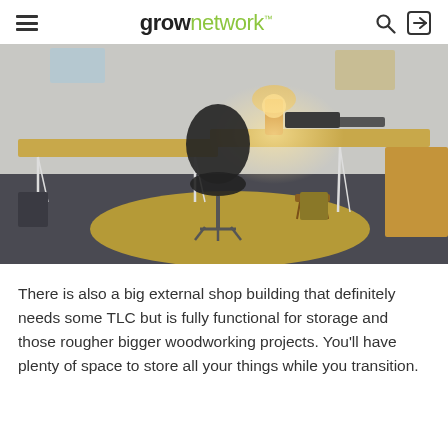grownetwork
[Figure (photo): A home office with an L-shaped wooden desk on hairpin legs, a black office chair, a lamp on the desk, and a yellow floor mat. The room has gray flooring and white walls.]
There is also a big external shop building that definitely needs some TLC but is fully functional for storage and those rougher bigger woodworking projects. You'll have plenty of space to store all your things while you transition.